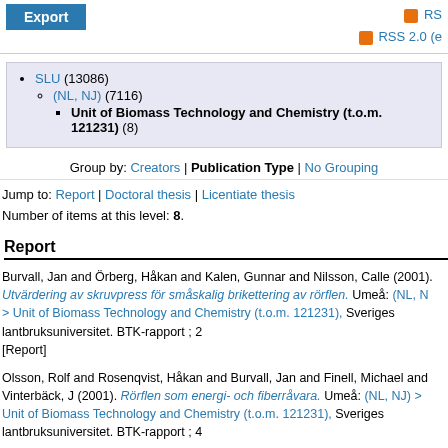Export | RSS | RSS 2.0 (e...
SLU (13086)
(NL, NJ) (7116)
Unit of Biomass Technology and Chemistry (t.o.m. 121231) (8)
Group by: Creators | Publication Type | No Grouping
Jump to: Report | Doctoral thesis | Licentiate thesis
Number of items at this level: 8.
Report
Burvall, Jan and Örberg, Håkan and Kalen, Gunnar and Nilsson, Calle (2001). Utvärdering av skruvpress för småskalig brikettering av rörflen. Umeå: (NL, N... > Unit of Biomass Technology and Chemistry (t.o.m. 121231), Sveriges lantbruksuniversitet. BTK-rapport ; 2 [Report]
Olsson, Rolf and Rosenqvist, Håkan and Burvall, Jan and Finell, Michael and Vinterbäck, J (2001). Rörflen som energi- och fiberråvara. Umeå: (NL, NJ) > Unit of Biomass Technology and Chemistry (t.o.m. 121231), Sveriges lantbruksuniversitet. BTK-rapport ; 4